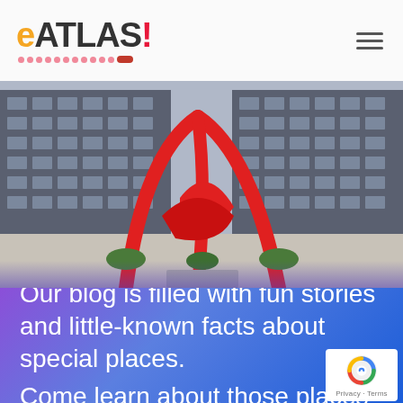[Figure (logo): eATLAS! logo with orange 'e' and dark 'ATLAS' text with red exclamation mark, red dotted underline]
[Figure (photo): Photo of a large red Calder flamingo sculpture in an urban plaza with a dark glass skyscraper in the background]
Our blog is filled with fun stories and little-known facts about special places.
Come learn about those places